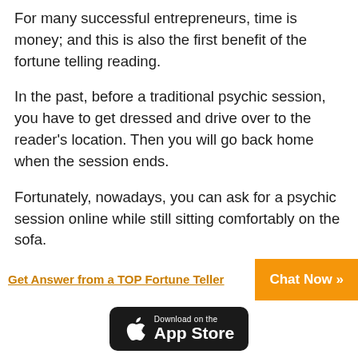For many successful entrepreneurs, time is money; and this is also the first benefit of the fortune telling reading.
In the past, before a traditional psychic session, you have to get dressed and drive over to the reader's location. Then you will go back home when the session ends.
Fortunately, nowadays, you can ask for a psychic session online while still sitting comfortably on the sofa.
Thanks to the Internet, you can make connection
Get Answer from a TOP Fortune Teller
Chat Now »
[Figure (logo): Download on the App Store badge with Apple logo on black background]